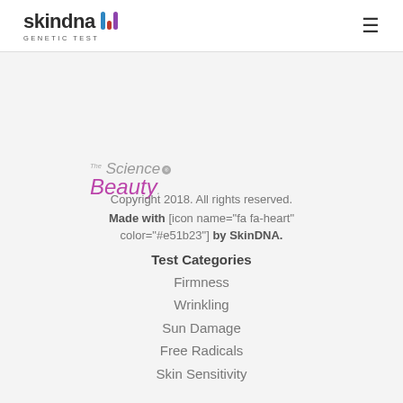skindna GENETIC TEST
[Figure (logo): The Science of Beauty logo with italic text in grey and purple]
Copyright 2018. All rights reserved.
Made with [icon name="fa fa-heart" color="#e51b23"] by SkinDNA.
Test Categories
Firmness
Wrinkling
Sun Damage
Free Radicals
Skin Sensitivity